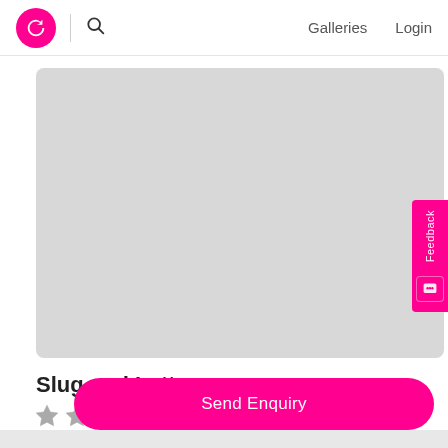Galleries  Login
[Figure (photo): Large light grey placeholder image area for Slug and Lettuce venue]
Slug and Lettuce
2 out of 5 stars rating
Send Enquiry